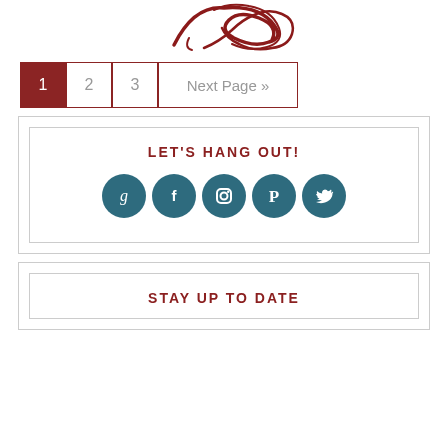[Figure (logo): Dark red cursive/script logo at top center]
[Figure (infographic): Pagination navigation with page buttons 1 (active), 2, 3, and Next Page >>]
LET'S HANG OUT!
[Figure (infographic): Social media icons: Goodreads, Facebook, Instagram, Pinterest, Twitter - teal circular buttons]
STAY UP TO DATE